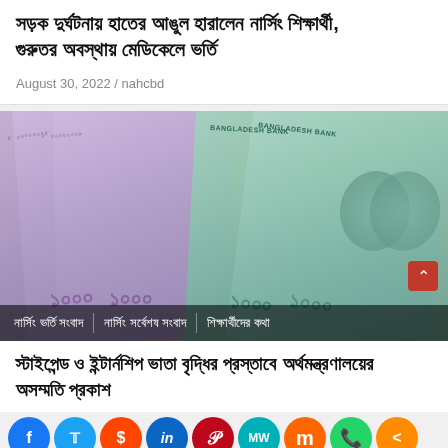সড়ক দুর্ঘটনায় হাতের আঙুল হারালেন নার্সিং শিক্ষার্থী, গুরুতর অবস্থায় মেডিকেলে ভর্তি
August 30, 2022 / nahcbd
[Figure (photo): Photo of Bangladesh currency notes (taka banknotes) fanned out on a table, with category tags overlaid at bottom: নার্সিং ভর্তি সংবাদ, নার্সিং সর্বেশষ সংবাদ, শিক্ষার্থীদের কথা]
স্টাইপেন্ড ও ইন্টার্নশিপ ভাতা বৃদ্ধির প্রস্তাবে অর্থমন্ত্রণালয়ের অসম্মতি প্রকাশ